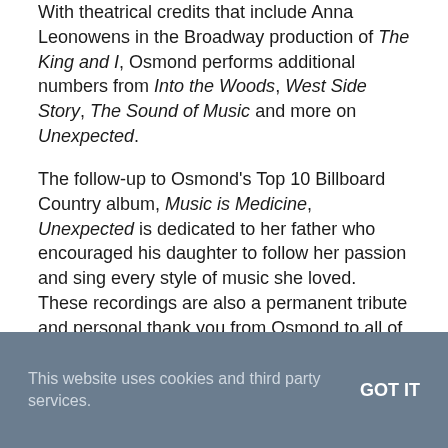With theatrical credits that include Anna Leonowens in the Broadway production of The King and I, Osmond performs additional numbers from Into the Woods, West Side Story, The Sound of Music and more on Unexpected.
The follow-up to Osmond's Top 10 Billboard Country album, Music is Medicine, Unexpected is dedicated to her father who encouraged his daughter to follow her passion and sing every style of music she loved. These recordings are also a permanent tribute and personal thank you from Osmond to all of her fans who have requested them over the years.
A SYMPHONIC CHRISTMAS TOUR DATES:
Dec. 1 – Southern Utah State University – Cedar City, Utah
This website uses cookies and third party services.
GOT IT